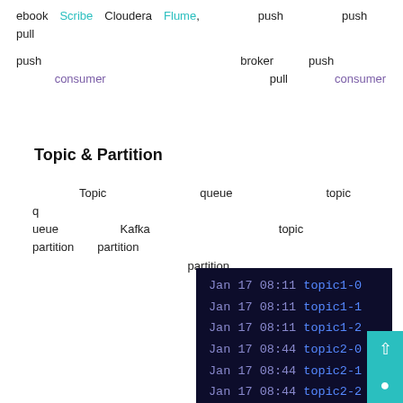ebook　Scribe　Cloudera　Flume,　　　　　push　　　　　push　　pull
push　　　　　　　　　　　　　　　　　broker　　　push　　　　　　　　　　　　　　　　 consumer　　　　　　　　　　　　　　　pull　　　　consumer
Topic & Partition
Topic　　　　　　　　　queue　　　　　　　　　topic　　　　　　　　　　　　　　　queue　　 　　　Kafka　　　　　　　　　　　topic　　　　　partition　　partition　　　　　　　　　　　　　 　　　　partition
[Figure (screenshot): Terminal screenshot showing Kafka topic partitions: topic1-0, topic1-1, topic1-2 created Jan 17 08:11 and topic2-0, topic2-1, topic2-2, topic2-3 created Jan 17 08:44]